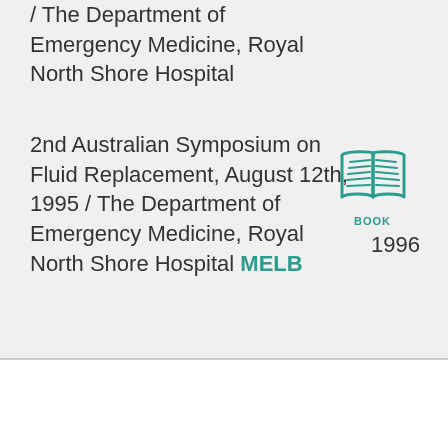/ The Department of Emergency Medicine, Royal North Shore Hospital
2nd Australian Symposium on Fluid Replacement, August 12th, 1995 / The Department of Emergency Medicine, Royal North Shore Hospital MELB
[Figure (illustration): Open book icon in teal color with label BOOK below]
1996
615.39 Aus/Gfp 1993 : Guidelines for